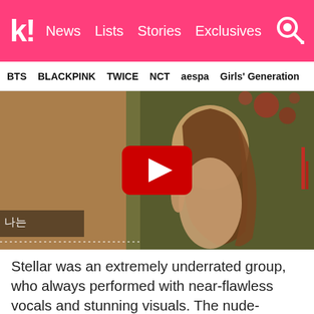k! News Lists Stories Exclusives
BTS  BLACKPINK  TWICE  NCT  aespa  Girls' Generation
[Figure (screenshot): YouTube video thumbnail showing a woman with long brown hair in a nude-colored outfit with a YouTube play button overlay. Korean text visible in the lower left: 나는]
Stellar was an extremely underrated group, who always performed with near-flawless vocals and stunning visuals. The nude-colored outfits in this performance were perfect to show off their raw talent that didn't require anything flashy or bold, and the unanticipated rain just added to the performance.